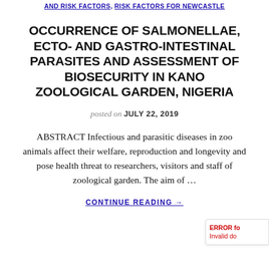AND RISK FACTORS, RISK FACTORS FOR NEWCASTLE
OCCURRENCE OF SALMONELLAE, ECTO- AND GASTRO-INTESTINAL PARASITES AND ASSESSMENT OF BIOSECURITY IN KANO ZOOLOGICAL GARDEN, NIGERIA
posted on JULY 22, 2019
ABSTRACT Infectious and parasitic diseases in zoo animals affect their welfare, reproduction and longevity and pose health threat to researchers, visitors and staff of zoological garden. The aim of …
CONTINUE READING →